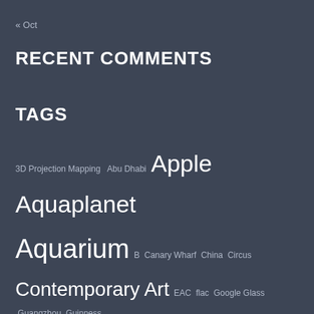« Oct
RECENT COMMENTS
TAGS
3D Projection Mapping  Abu Dhabi  Apple  Aquaplanet  Aquarium  B  Canary Wharf  China  Circus  Contemporary Art  EAC  flac  Google Glass  Guangzhou  Guinness  Guinness Records  HOK  London  Mac  MIT  OS X  Sheikh Zayed Grand Mosque  tangible  Tate  Travel  Trend/Brand  UAE  UK  Unilever Series  WAZA  [Korean/Chinese characters]